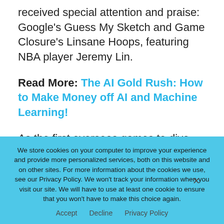received special attention and praise: Google's Guess My Sketch and Game Closure's Linsane Hoops, featuring NBA player Jeremy Lin.
Read More: The AI Gold Rush: How to Make Money off AI and Machine Learning!
As the first overseas games to dive into the WeChat Mini Games ecosystem, these two Mini Games were highlights of the
We store cookies on your computer to improve your experience and provide more personalized services, both on this website and on other sites. For more information about the cookies we use, see our Privacy Policy. We won't track your information when you visit our site. We will have to use at least one cookie to ensure that you won't have to make this choice again.
Accept   Decline   Privacy Policy